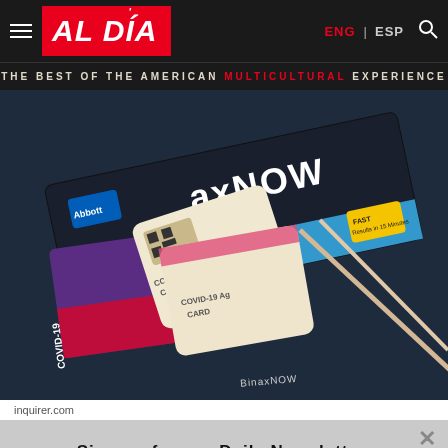AL DÍA — THE BEST OF THE AMERICAN MULTICULTURAL EXPERIENCE | ENG | ESP
[Figure (photo): COVID-19 rapid antigen test kits including BinaxNOW by Abbott with test cards and swabs on a dark surface]
inquirer.com
Sign up for our Daily Newsletter.
Enter email  SIGN UP